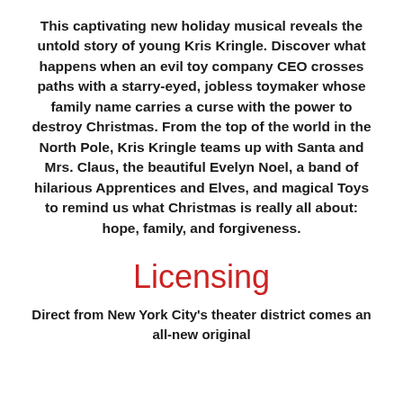This captivating new holiday musical reveals the untold story of young Kris Kringle. Discover what happens when an evil toy company CEO crosses paths with a starry-eyed, jobless toymaker whose family name carries a curse with the power to destroy Christmas. From the top of the world in the North Pole, Kris Kringle teams up with Santa and Mrs. Claus, the beautiful Evelyn Noel, a band of hilarious Apprentices and Elves, and magical Toys to remind us what Christmas is really all about: hope, family, and forgiveness.
Licensing
Direct from New York City's theater district comes an all-new original